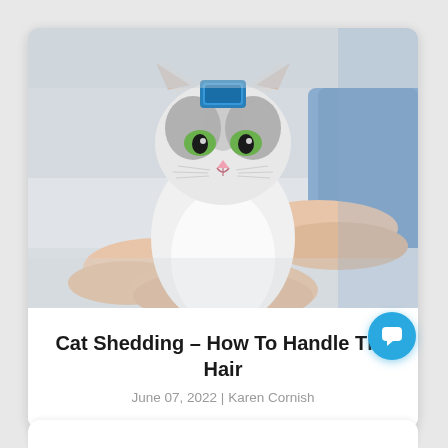[Figure (photo): A gray and white cat being held by a person's hands, looking directly at the camera. The cat has green eyes. Background is blurred blue/gray tones.]
Cat Shedding – How To Handle The Hair
June 07, 2022 | Karen Cornish